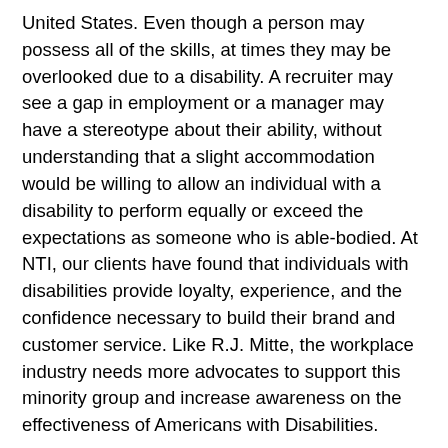United States.  Even though a person may possess all of the skills, at times they may be overlooked due to a disability.  A recruiter may see a gap in employment or a manager may have a stereotype about their ability, without understanding that a slight accommodation would be willing to allow an individual with a disability to perform equally or exceed the expectations as someone who is able-bodied. At NTI, our clients have found that individuals with disabilities provide loyalty, experience, and the confidence necessary to build their brand and customer service.  Like R.J. Mitte, the workplace industry needs more advocates to support this minority group and increase awareness on the effectiveness of Americans with Disabilities.
As an endnote, Cheryl Boone Isaacs, the President of the Academy of Motion Picture Arts and Sciences, just released a statement calling for diversity and inclusion concerning gender, race, ethnicity, and sexual orientation. Why was disability excluded?  One in every 5, or 60 Million Americans has a disability.  They are the minority group in the United States.  In order to portray life within the media as well as develop a more effective and inclusive workforce within our country, the media